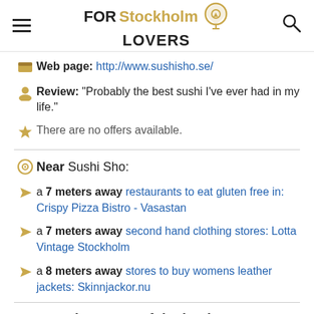FOR Stockholm LOVERS
Web page: http://www.sushisho.se/
Review: "Probably the best sushi I've ever had in my life."
There are no offers available.
Near Sushi Sho:
a 7 meters away restaurants to eat gluten free in: Crispy Pizza Bistro - Vasastan
a 7 meters away second hand clothing stores: Lotta Vintage Stockholm
a 8 meters away stores to buy womens leather jackets: Skinnjackor.nu
Are you the owner of the business? PROMOTE IT!